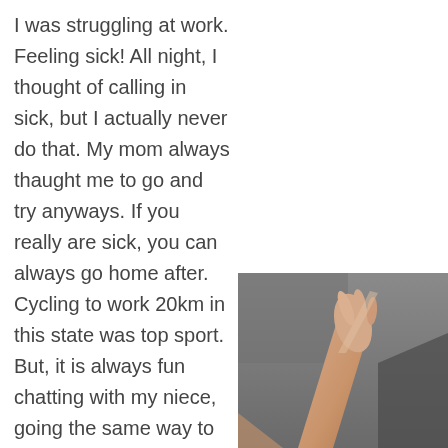I was struggling at work. Feeling sick! All night, I thought of calling in sick, but I actually never do that. My mom always thaught me to go and try anyways. If you really are sick, you can always go home after. Cycling to work 20km in this state was top sport. But, it is always fun chatting with my niece, going the same way to school. In the
[Figure (photo): A photo of a person's raised hand/arm against a blurred background, appears to be taken from below looking up.]